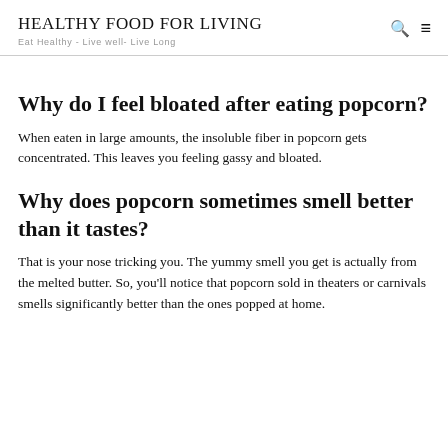HEALTHY FOOD FOR LIVING
Eat Healthy - Live well- Live Long
Why do I feel bloated after eating popcorn?
When eaten in large amounts, the insoluble fiber in popcorn gets concentrated. This leaves you feeling gassy and bloated.
Why does popcorn sometimes smell better than it tastes?
That is your nose tricking you. The yummy smell you get is actually from the melted butter. So, you'll notice that popcorn sold in theaters or carnivals smells significantly better than the ones popped at home.